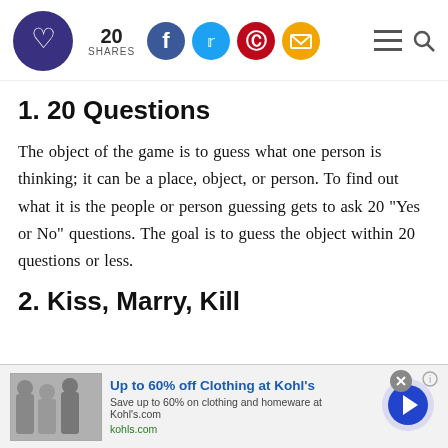20 SHARES | social share icons | menu icons
1. 20 Questions
The object of the game is to guess what one person is thinking; it can be a place, object, or person. To find out what it is the people or person guessing gets to ask 20 "Yes or No" questions. The goal is to guess the object within 20 questions or less.
2. Kiss, Marry, Kill
[Figure (other): Advertisement banner: Up to 60% off Clothing at Kohl's - Save up to 60% on clothing and homeware at Kohl's.com - kohls.com]